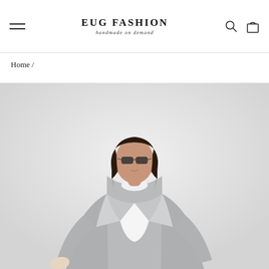EUG FASHION — handmade on demand
Home /
[Figure (photo): A female model wearing a light grey oversized wool coat with large lapels over a white turtleneck sweater, with dark sunglasses and long dark hair, photographed against a light grey/white background.]